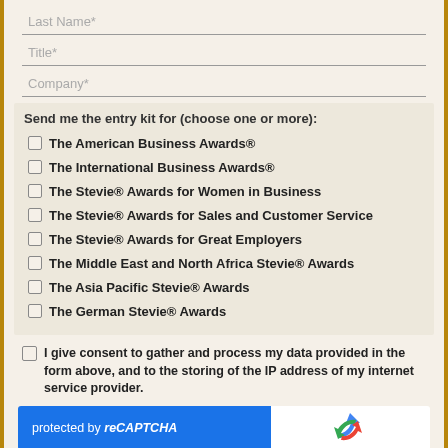Last Name*
Title*
Company*
Send me the entry kit for (choose one or more):
The American Business Awards®
The International Business Awards®
The Stevie® Awards for Women in Business
The Stevie® Awards for Sales and Customer Service
The Stevie® Awards for Great Employers
The Middle East and North Africa Stevie® Awards
The Asia Pacific Stevie® Awards
The German Stevie® Awards
I give consent to gather and process my data provided in the form above, and to the storing of the IP address of my internet service provider.
[Figure (other): reCAPTCHA widget with blue background showing 'protected by reCAPTCHA' and reCAPTCHA logo on white background]